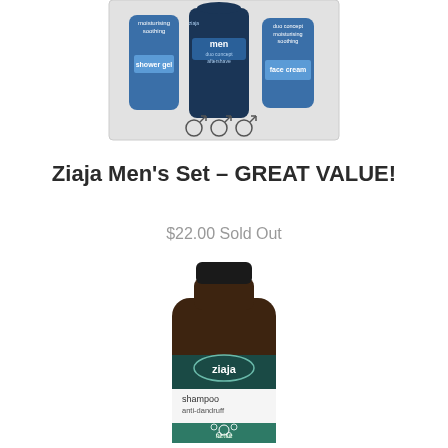[Figure (photo): Ziaja Men's Set product box showing shower gel, men duo concept aftershave, and face cream with matching symbols on grey background]
Ziaja Men's Set – GREAT VALUE!
$22.00 Sold Out
[Figure (photo): Ziaja anti-dandruff nettle shampoo bottle – dark brown bottle with black cap, teal label showing ziaja logo, 'shampoo anti-dandruff' text and nettle plant illustration]